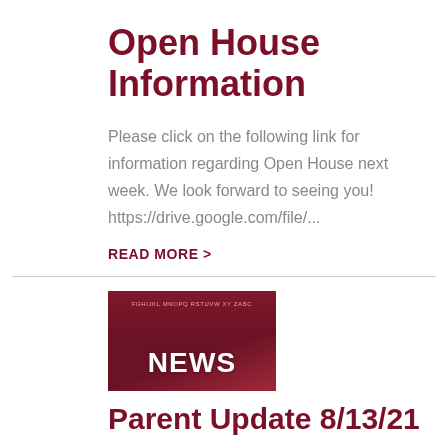Open House Information
Please click on the following link for information regarding Open House next week. We look forward to seeing you! https://drive.google.com/file/...
READ MORE >
[Figure (photo): News thumbnail image with dark red background and 'NEWS' text in white bold letters]
Parent Update 8/13/21
Please see our update for Friday, August 13th: Update